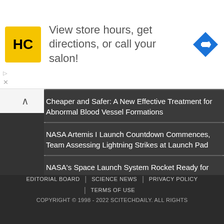[Figure (other): Advertisement banner with HC logo and text 'View store hours, get directions, or call your salon!' with a blue diamond directional arrow icon]
Cheaper and Safer: A New Effective Treatment for Abnormal Blood Vessel Formations
NASA Artemis I Launch Countdown Commences, Team Assessing Lightning Strikes at Launch Pad
NASA's Space Launch System Rocket Ready for Moon Launch on Artemis I [Video]
EDITORIAL BOARD | SCIENCE NEWS | PRIVACY POLICY | TERMS OF USE
COPYRIGHT © 1998 - 2022 SCITECHDAILY. ALL RIGHTS